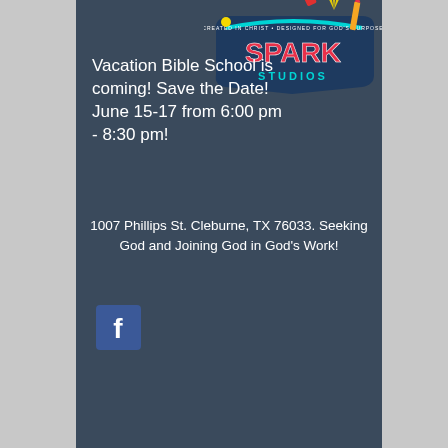[Figure (logo): Spark Studios Vacation Bible School logo with colorful pencils and star burst on dark background]
Vacation Bible School is coming! Save the Date! June 15-17 from 6:00 pm - 8:30 pm!
1007 Phillips St. Cleburne, TX 76033. Seeking God and Joining God in God's Work!
[Figure (logo): Facebook icon - blue square with white lowercase f]